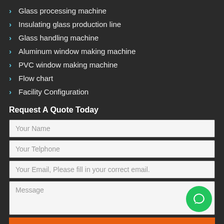Glass processing machine
Insulating glass production line
Glass handling machine
Aluminum window making machine
PVC window making machine
Flow chart
Facility Configuration
Request A Quote Today
Your Name
Your Telphone
Your Email, Please fill in your correct email.
Message
Send Message